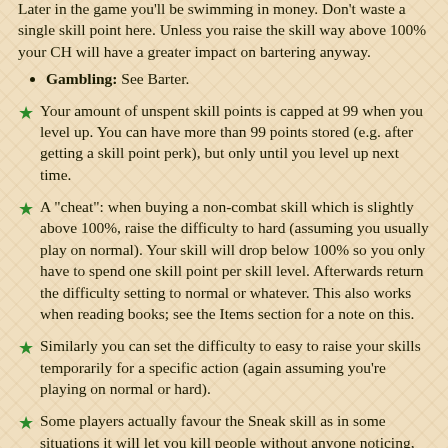Later in the game you'll be swimming in money. Don't waste a single skill point here. Unless you raise the skill way above 100% your CH will have a greater impact on bartering anyway.
Gambling: See Barter.
★ Your amount of unspent skill points is capped at 99 when you level up. You can have more than 99 points stored (e.g. after getting a skill point perk), but only until you level up next time.
★ A "cheat": when buying a non-combat skill which is slightly above 100%, raise the difficulty to hard (assuming you usually play on normal). Your skill will drop below 100% so you only have to spend one skill point per skill level. Afterwards return the difficulty setting to normal or whatever. This also works when reading books; see the Items section for a note on this.
★ Similarly you can set the difficulty to easy to raise your skills temporarily for a specific action (again assuming you're playing on normal or hard).
★ Some players actually favour the Sneak skill as in some situations it will let you kill people without anyone noticing, which is useful in assassinations. It